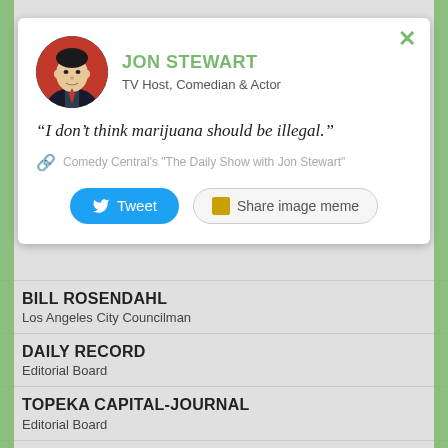[Figure (screenshot): Popup card showing Jon Stewart profile with avatar photo, quote, source attribution, Tweet and Share image meme buttons]
JON STEWART
TV Host, Comedian & Actor
“I don’t think marijuana should be illegal.”
Comedy Central's "The Daily Show with Jon Stewart"
BILL ROSENDAHL
Los Angeles City Councilman
DAILY RECORD
Editorial Board
TOPEKA CAPITAL-JOURNAL
Editorial Board
KAREN TALLIAN
Indiana State Senator
PETER SHUMLIN